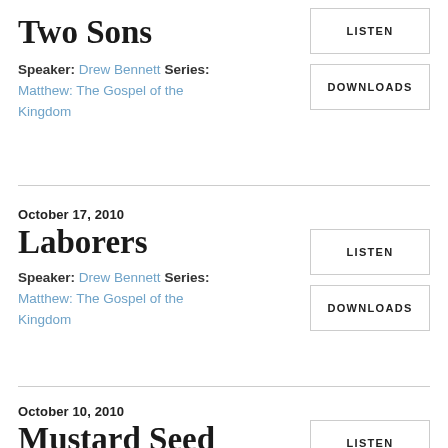Two Sons
Speaker: Drew Bennett Series: Matthew: The Gospel of the Kingdom
LISTEN
DOWNLOADS
October 17, 2010
Laborers
Speaker: Drew Bennett Series: Matthew: The Gospel of the Kingdom
LISTEN
DOWNLOADS
October 10, 2010
Mustard Seed
LISTEN